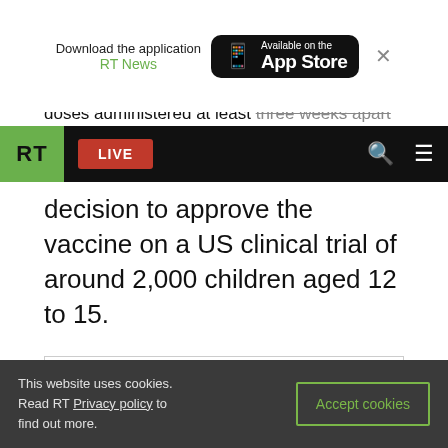[Figure (screenshot): App download banner: 'Download the application RT News' with App Store button and close X]
doses administered at least three weeks apart
[Figure (screenshot): RT navigation bar with green RT logo, red LIVE button, search icon, and hamburger menu]
decision to approve the vaccine on a US clinical trial of around 2,000 children aged 12 to 15.
[Figure (other): Empty advertisement or embedded content box]
This website uses cookies. Read RT Privacy policy to find out more.